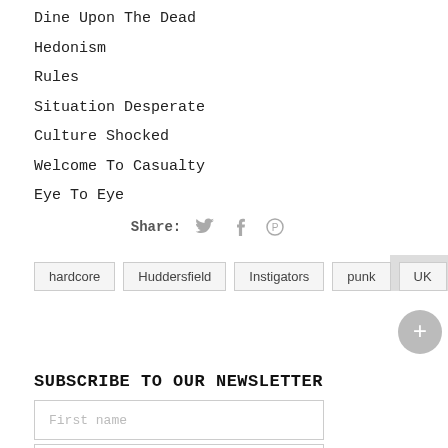Dine Upon The Dead
Hedonism
Rules
Situation Desperate
Culture Shocked
Welcome To Casualty
Eye To Eye
Share:
hardcore  Huddersfield  Instigators  punk  UK
SUBSCRIBE TO OUR NEWSLETTER
First name
E-mail *